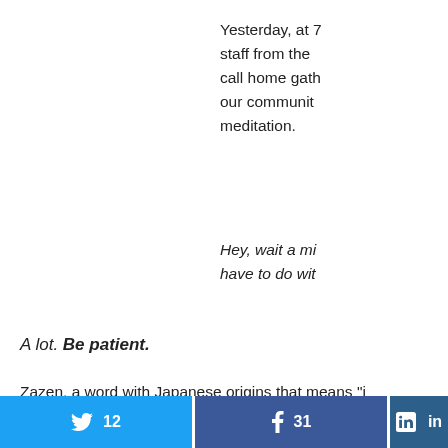Yesterday, at 7... staff from the... call home gath... our communit... meditation.
Hey, wait a mi... have to do wit...
A lot. Be patient.
Zazen, a word with Japanese origins that means "j... foundation for Zen Buddhism, and the centerpiece...
[Figure (infographic): Social share buttons: Twitter with count 12, Facebook with count 31, LinkedIn button]